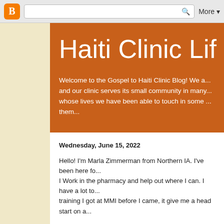Blogger | Search | More
Haiti Clinic Lif
Welcome to the Gospel to Haiti Clinic Blog! We a... and our clinic serves its small community in many... whose lives we have been able to touch in some ... them...
Wednesday, June 15, 2022
Hello! I'm Marla Zimmerman from Northern IA. I've been here fo... I Work in the pharmacy and help out where I can. I have a lot to... training I got at MMI before I came, it give me a head start on a...
I enjoy my work in the Pharmacy and I now have a love for mec... have!...